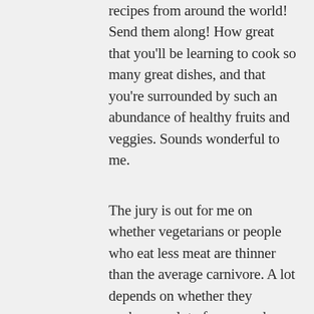recipes from around the world! Send them along! How great that you'll be learning to cook so many great dishes, and that you're surrounded by such an abundance of healthy fruits and veggies. Sounds wonderful to me.
The jury is out for me on whether vegetarians or people who eat less meat are thinner than the average carnivore. A lot depends on whether they exchange a lot of sugar and empty carbohydrates for meat, or if they learn how to cook with